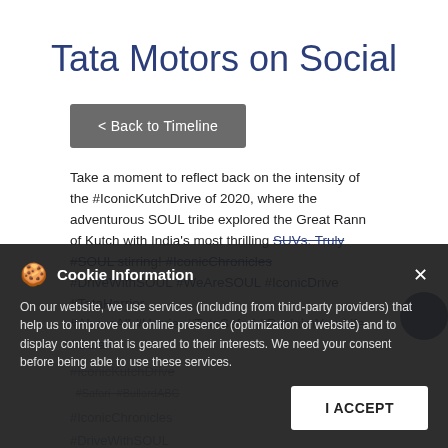Tata Motors on Social
< Back to Timeline
Take a moment to reflect back on the intensity of the #IconicKutchDrive of 2020, where the adventurous SOUL tribe explored the Great Rann of Kutch with India's most thrilling SUVs. Truly #SOUL stirring! #IconicChronicles #DriveWithSOUL #WeAreSOUL #IconicDrive #TataHarrier #AboveAll #Harrier #TataSafari #ReclaimYourLife #Safari
#IconicChronicles
#DriveWithSOUL
Cookie Information
On our website, we use services (including from third-party providers) that help us to improve our online presence (optimization of website) and to display content that is geared to their interests. We need your consent before being able to use these services.
I ACCEPT